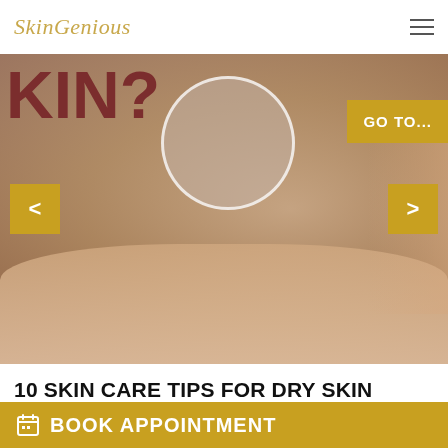SkinGenious
[Figure (photo): Woman touching face with magnifying glass circle overlay showing skin texture, with 'KIN?' text overlay and 'GO TO...' button, navigation arrows on sides]
10 SKIN CARE TIPS FOR DRY SKIN
4 minutes read   Posted on: 07-29-2022
If you suffer from skin that is uncomfortably dry, it is
BOOK APPOINTMENT